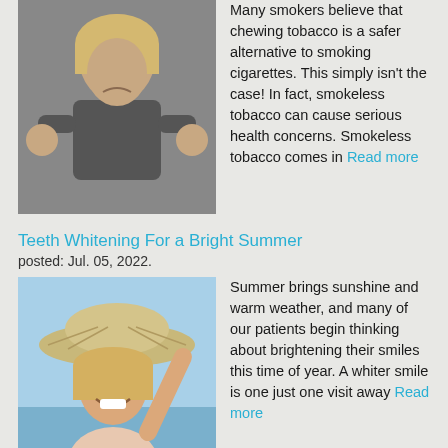[Figure (photo): Woman with blonde hair giving two thumbs down, wearing dark top, against gray background]
Many smokers believe that chewing tobacco is a safer alternative to smoking cigarettes. This simply isn't the case! In fact, smokeless tobacco can cause serious health concerns. Smokeless tobacco comes in Read more
Teeth Whitening For a Bright Summer
posted: Jul. 05, 2022.
[Figure (photo): Woman with blonde hair smiling and wearing a wide-brimmed sun hat, raising her arm, against blue sky background]
Summer brings sunshine and warm weather, and many of our patients begin thinking about brightening their smiles this time of year. A whiter smile is one just one visit away Read more
Teeth Whitening For a Bright Summer